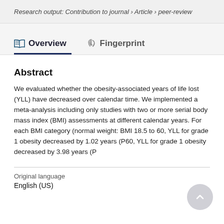Research output: Contribution to journal › Article › peer-review
Overview   Fingerprint
Abstract
We evaluated whether the obesity-associated years of life lost (YLL) have decreased over calendar time. We implemented a meta-analysis including only studies with two or more serial body mass index (BMI) assessments at different calendar years. For each BMI category (normal weight: BMI 18.5 to 60, YLL for grade 1 obesity decreased by 1.02 years (P60, YLL for grade 1 obesity decreased by 3.98 years (P
Original language
English (US)